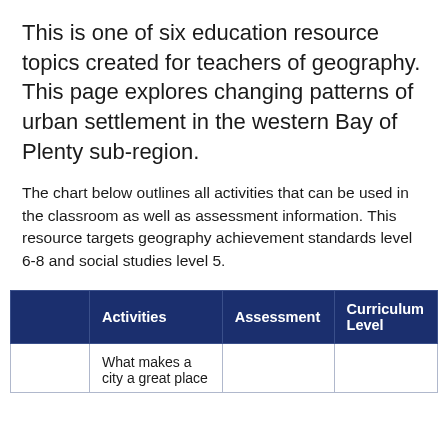This is one of six education resource topics created for teachers of geography. This page explores changing patterns of urban settlement in the western Bay of Plenty sub-region.
The chart below outlines all activities that can be used in the classroom as well as assessment information. This resource targets geography achievement standards level 6-8 and social studies level 5.
|  | Activities | Assessment | Curriculum Level |
| --- | --- | --- | --- |
|  | What makes a city a great place... |  |  |